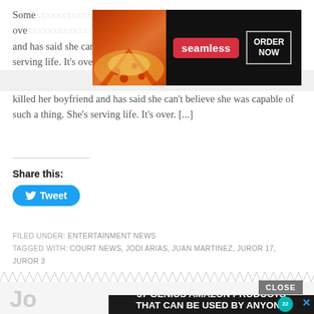Some... could be ove... ly killed her boyfriend and has said she can't believe she was capable of such a thing. She's serving life. It's over. [...]
[Figure (screenshot): Seamless food delivery advertisement banner with pizza image, seamless logo in red, and ORDER NOW button]
Share this:
Tweet
FILED UNDER: ENTERTAINMENT NEWS
TAGGED WITH: COURT NEWS, JODI ARIAS, JUAN MARTINEZ, JUROR 17, JUROR 3
Joi... Mu...
[Figure (screenshot): Advertisement overlay: 37 GENIUS AMAZON PRODUCTS THAT CAN BE USED BY ANYONE, with purple headphones photo and 22 badge, CLOSE button]
CLOSE
37 GENIUS AMAZON PRODUCTS THAT CAN BE USED BY ANYONE